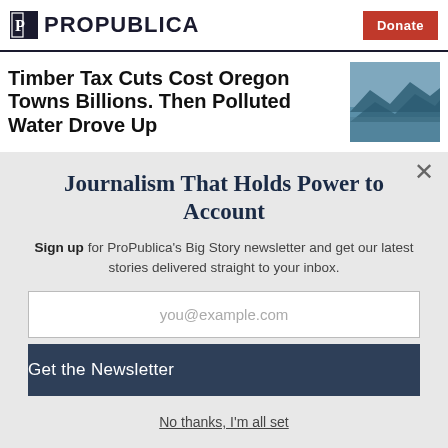ProPublica | Donate
Timber Tax Cuts Cost Oregon Towns Billions. Then Polluted Water Drove Up
[Figure (photo): Landscape photo of a river or lake with mountains]
Journalism That Holds Power to Account
Sign up for ProPublica's Big Story newsletter and get our latest stories delivered straight to your inbox.
you@example.com
Get the Newsletter
No thanks, I'm all set
This site is protected by reCAPTCHA and the Google Privacy Policy and Terms of Service apply.